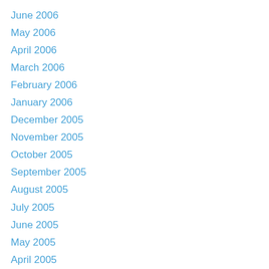June 2006
May 2006
April 2006
March 2006
February 2006
January 2006
December 2005
November 2005
October 2005
September 2005
August 2005
July 2005
June 2005
May 2005
April 2005
March 2005
February 2005
January 2005
December 2004
November 2004